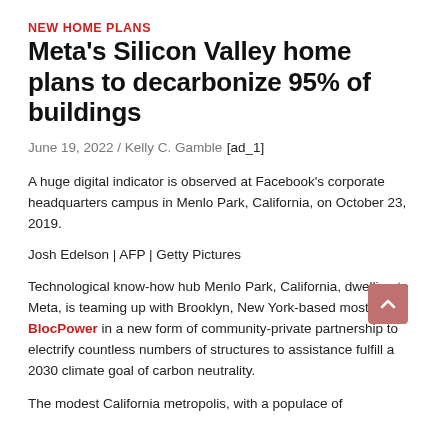NEW HOME PLANS
Meta's Silicon Valley home plans to decarbonize 95% of buildings
June 19, 2022 / Kelly C. Gamble
[ad_1]
A huge digital indicator is observed at Facebook's corporate headquarters campus in Menlo Park, California, on October 23, 2019.
Josh Edelson | AFP | Getty Pictures
Technological know-how hub Menlo Park, California, dwelling to Meta, is teaming up with Brooklyn, New York-based mostly BlocPower in a new form of community-private partnership to electrify countless numbers of structures to assistance fulfill a 2030 climate goal of carbon neutrality.
The modest California metropolis, with a populace of